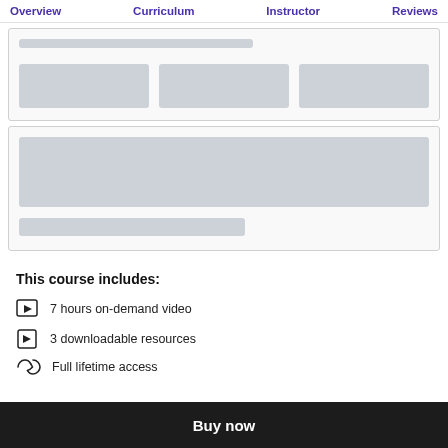Overview  Curriculum  Instructor  Reviews
[Figure (screenshot): Skeleton loading card with a narrow bar at top and three equal rectangular placeholder blocks in a row below]
[Figure (screenshot): Skeleton loading card with one large wide rectangular placeholder block and one shorter narrower placeholder block below it]
This course includes:
7 hours on-demand video
3 downloadable resources
Full lifetime access
Buy now